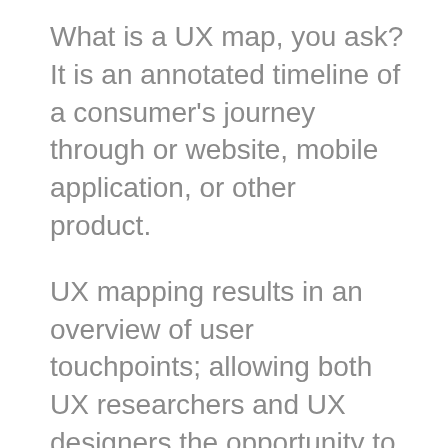What is a UX map, you ask? It is an annotated timeline of a consumer's journey through or website, mobile application, or other product.
UX mapping results in an overview of user touchpoints; allowing both UX researchers and UX designers the opportunity to identify how users interact with their product.
This type of data visualization is not just useful to UX researchers – it can help all user experience professionals assess issues and make product improvements